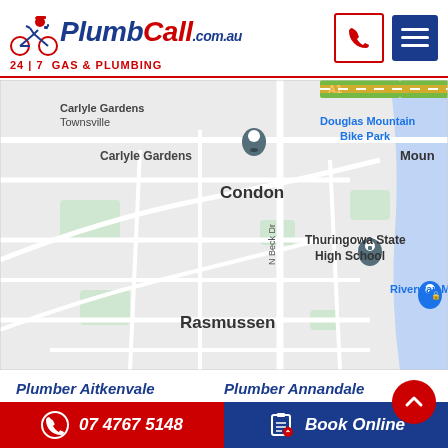[Figure (logo): PlumbCall.com.au logo with plumber on bicycle mascot and tagline 24|7 Gas & Plumbing]
[Figure (map): Google Maps screenshot showing Condon, Rasmussen, Carlyle Gardens Townsville area with Thuringowa State High School, Riverway Meats, Douglas Mountain Bike Park markers]
Plumber Aitkenvale
Plumber Annandale
Plumber Belgian Gardens
Plumber Condon
07 4767 5148   Book Online